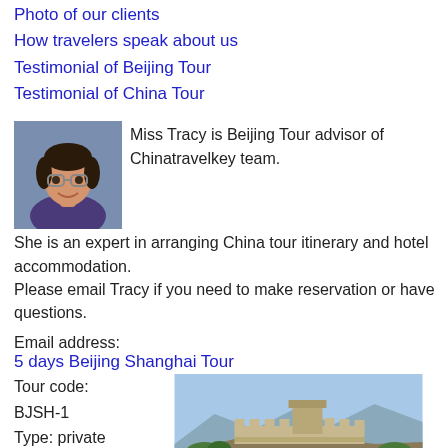Photo of our clients
How travelers speak about us
Testimonial of Beijing Tour
Testimonial of China Tour
Miss Tracy is Beijing Tour advisor of Chinatravelkey team. She is an expert in arranging China tour itinerary and hotel accommodation. Please email Tracy if you need to make reservation or have questions.
Email address:
5 days Beijing Shanghai Tour
Tour code:
BJSH-1
Type: private escorted tour
[Figure (photo): Photo of the Great Wall of China with blue sky background]